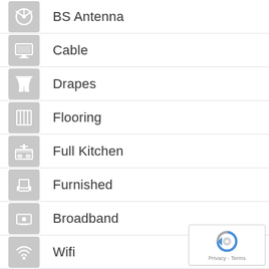BS Antenna
Cable
Drapes
Flooring
Full Kitchen
Furnished
Broadband
Wifi